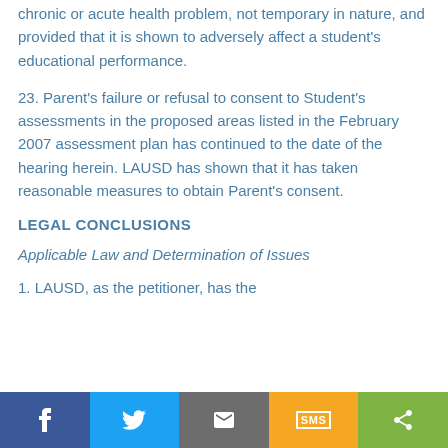chronic or acute health problem, not temporary in nature, and provided that it is shown to adversely affect a student's educational performance.
23. Parent's failure or refusal to consent to Student's assessments in the proposed areas listed in the February 2007 assessment plan has continued to the date of the hearing herein. LAUSD has shown that it has taken reasonable measures to obtain Parent's consent.
LEGAL CONCLUSIONS
Applicable Law and Determination of Issues
1. LAUSD, as the petitioner, has the